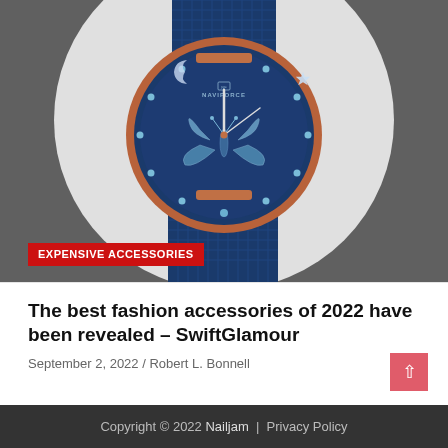[Figure (photo): Close-up photo of a blue Naviforce women's watch with rose gold case, blue mesh metal bracelet, blue dial with butterfly motif, crystal hour markers, moon and star decorations, on a light grey circular background, set against a dark grey page background.]
EXPENSIVE ACCESSORIES
The best fashion accessories of 2022 have been revealed – SwiftGlamour
September 2, 2022 / Robert L. Bonnell
Copyright © 2022 Nailjam  |  Privacy Policy